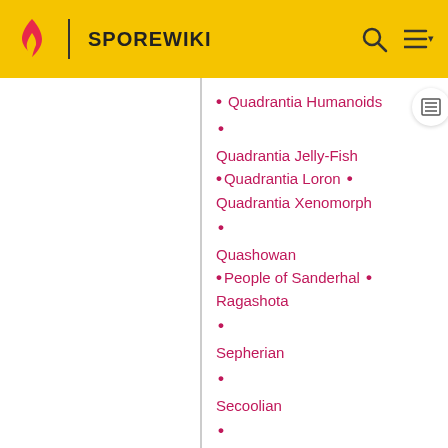SPOREWIKI
Quadrantia Humanoids
Quadrantia Jelly-Fish
Quadrantia Loron
Quadrantia Xenomorph
Quashowan
People of Sanderhal
Ragashota
Sepherian
Secoolian
Serlgmec
Sinleri
Taichoan